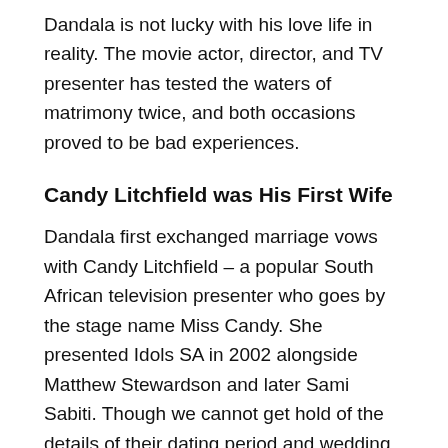Dandala is not lucky with his love life in reality. The movie actor, director, and TV presenter has tested the waters of matrimony twice, and both occasions proved to be bad experiences.
Candy Litchfield was His First Wife
Dandala first exchanged marriage vows with Candy Litchfield – a popular South African television presenter who goes by the stage name Miss Candy. She presented Idols SA in 2002 alongside Matthew Stewardson and later Sami Sabiti. Though we cannot get hold of the details of their dating period and wedding, it is common knowledge that the celeb duo tied the connubial knot in 2001. While the couple lived together as husband and wife, nothing much